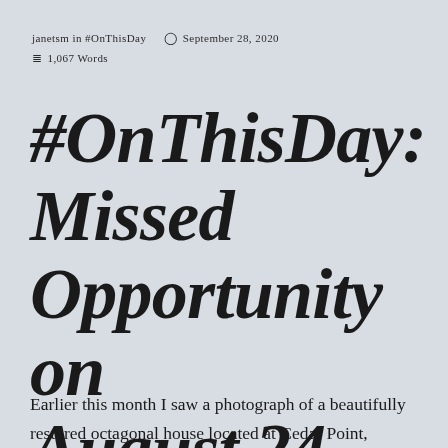janetsm in #OnThisDay   September 28, 2020   1,067 Words
#OnThisDay: Missed Opportunity on August 24
Earlier this month I saw a photograph of a beautifully restored octagonal house located at Cedar Point,